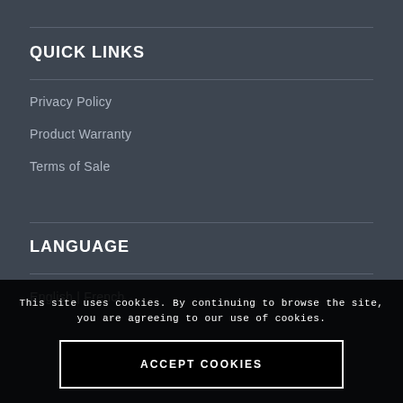QUICK LINKS
Privacy Policy
Product Warranty
Terms of Sale
LANGUAGE
English | French
This site uses cookies. By continuing to browse the site, you are agreeing to our use of cookies.
ACCEPT COOKIES
NEWSLETTER